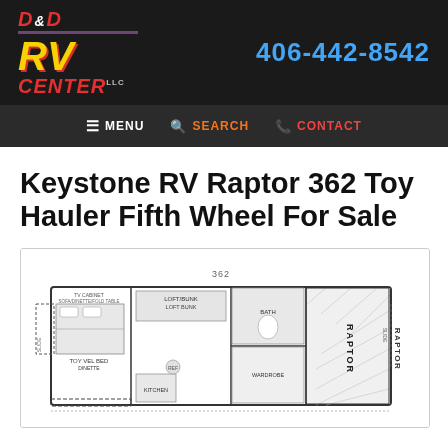D&D RV Center LLC | 406-442-8542
MENU  SEARCH  CONTACT
Keystone RV Raptor 362 Toy Hauler Fifth Wheel For Sale
[Figure (engineering-diagram): Floor plan diagram of the Keystone RV Raptor 362 toy hauler fifth wheel, showing a top-down layout with labeled rooms and features including garage area, bathroom, kitchen, living area, and bedroom. The number '362' is labeled at the top.]